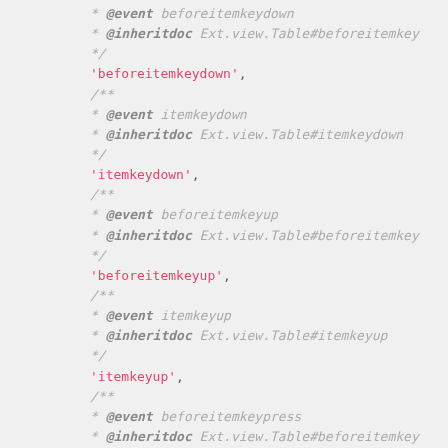* @event beforeitemkeydown
* @inheritdoc Ext.view.Table#beforeitemkey
*/
'beforeitemkeydown',
/**
* @event itemkeydown
* @inheritdoc Ext.view.Table#itemkeydown
*/
'itemkeydown',
/**
* @event beforeitemkeyup
* @inheritdoc Ext.view.Table#beforeitemkey
*/
'beforeitemkeyup',
/**
* @event itemkeyup
* @inheritdoc Ext.view.Table#itemkeyup
*/
'itemkeyup',
/**
* @event beforeitemkeypress
* @inheritdoc Ext.view.Table#beforeitemkey
*/
'beforeitemkeypress',